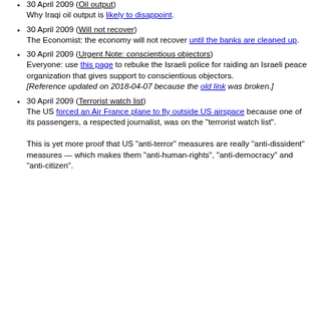30 April 2009 (Oil output)
Why Iraqi oil output is likely to disappoint.
30 April 2009 (Will not recover)
The Economist: the economy will not recover until the banks are cleaned up.
30 April 2009 (Urgent Note: conscientious objectors)
Everyone: use this page to rebuke the Israeli police for raiding an Israeli peace organization that gives support to conscientious objectors.
[Reference updated on 2018-04-07 because the old link was broken.]
30 April 2009 (Terrorist watch list)
The US forced an Air France plane to fly outside US airspace because one of its passengers, a respected journalist, was on the "terrorist watch list".
This is yet more proof that US "anti-terror" measures are really "anti-dissident" measures — which makes them "anti-human-rights", "anti-democracy" and "anti-citizen".